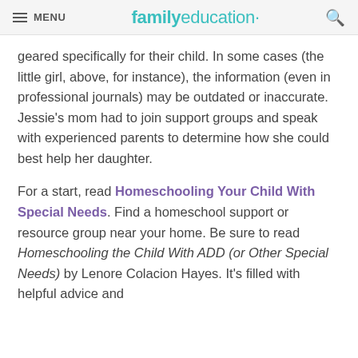MENU   familyeducation   🔍
geared specifically for their child. In some cases (the little girl, above, for instance), the information (even in professional journals) may be outdated or inaccurate. Jessie's mom had to join support groups and speak with experienced parents to determine how she could best help her daughter.
For a start, read Homeschooling Your Child With Special Needs. Find a homeschool support or resource group near your home. Be sure to read Homeschooling the Child With ADD (or Other Special Needs) by Lenore Colacion Hayes. It's filled with helpful advice and